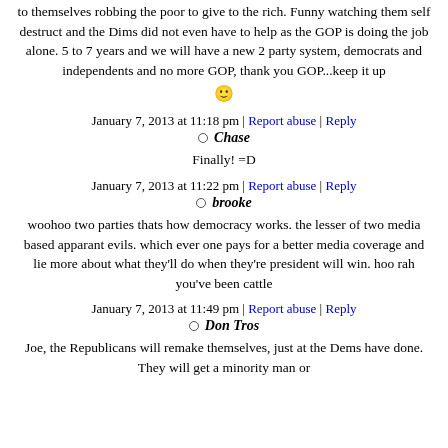to themselves robbing the poor to give to the rich. Funny watching them self destruct and the Dims did not even have to help as the GOP is doing the job alone. 5 to 7 years and we will have a new 2 party system, democrats and independents and no more GOP, thank you GOP...keep it up 🙂
January 7, 2013 at 11:18 pm | Report abuse | Reply
Chase
Finally! =D
January 7, 2013 at 11:22 pm | Report abuse | Reply
brooke
woohoo two parties thats how democracy works. the lesser of two media based apparant evils. which ever one pays for a better media coverage and lie more about what they'll do when they're president will win. hoo rah you've been cattle
January 7, 2013 at 11:49 pm | Report abuse | Reply
Don Tros
Joe, the Republicans will remake themselves, just at the Dems have done. They will get a minority man or